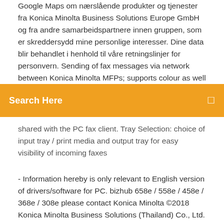Google Maps om nærslående produkter og tjenester fra Konica Minolta Business Solutions Europe GmbH og fra andre samarbeidspartnere innen gruppen, som er skreddersydd mine personlige interesser. Dine data blir behandlet i henhold til våre retningslinjer for personvern. Sending of fax messages via network between Konica Minolta MFPs; supports colour as well as black & white. PC Fax. Direct fax transmission from the PC
[Figure (other): Orange search bar overlay with text 'Search Here' and a search icon on the right]
shared with the PC fax client. Tray Selection: choice of input tray / print media and output tray for easy visibility of incoming faxes
- Information hereby is only relevant to English version of drivers/software for PC. bizhub 658e / 558e / 458e / 368e / 308e please contact Konica Minolta ©2018 Konica Minolta Business Solutions (Thailand) Co., Ltd. Global Site: Corporate Information; Sustainability Konica Minolta Drivers.  7,488 drivers total Last updated: Mar 3rd 2021, 19:34 GMT RSS Feed. Konica